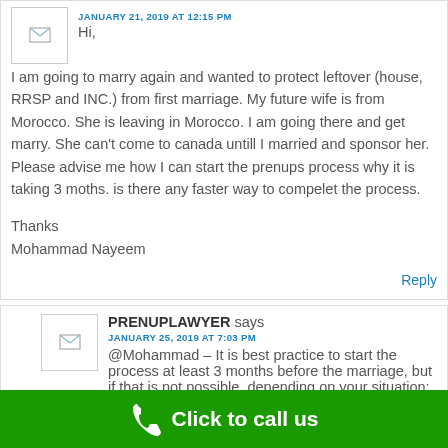JANUARY 21, 2019 AT 12:15 PM
Hi,
I am going to marry again and wanted to protect leftover (house, RRSP and INC.) from first marriage. My future wife is from Morocco. She is leaving in Morocco. I am going there and get marry. She can't come to canada untill I married and sponsor her. Please advise me how I can start the prenups process why it is taking 3 moths. is there any faster way to compelet the process.

Thanks
Mohammad Nayeem
Reply
PRENUPLAWYER says
JANUARY 25, 2019 AT 7:03 PM
@Mohammad – It is best practice to start the process at least 3 months before the marriage, but if that is not possible, depending on your situation:
Click to call us